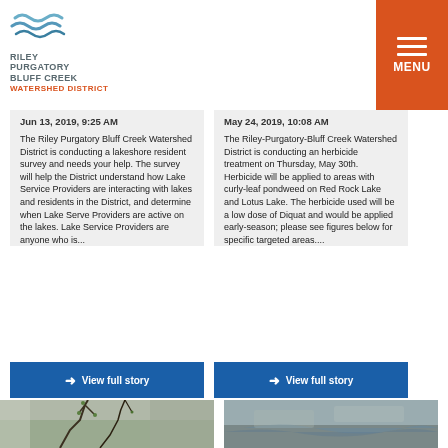[Figure (logo): Riley Purgatory Bluff Creek Watershed District logo with wave graphic]
Jun 13, 2019, 9:25 AM
May 24, 2019, 10:08 AM
The Riley Purgatory Bluff Creek Watershed District is conducting a lakeshore resident survey and needs your help. The survey will help the District understand how Lake Service Providers are interacting with lakes and residents in the District, and determine when Lake Serve Providers are active on the lakes. Lake Service Providers are anyone who is...
The Riley-Purgatory-Bluff Creek Watershed District is conducting an herbicide treatment on Thursday, May 30th. Herbicide will be applied to areas with curly-leaf pondweed on Red Rock Lake and Lotus Lake. The herbicide used will be a low dose of Diquat and would be applied early-season; please see figures below for specific targeted areas....
View full story
View full story
[Figure (photo): Close-up photo of tree branches with small green buds against a rocky/stone background]
[Figure (photo): Aerial or landscape photo showing a body of water and terrain]